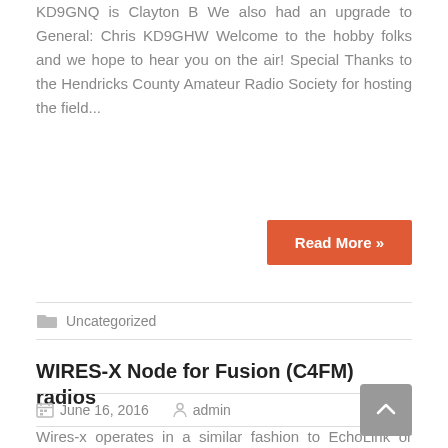KD9GNQ is Clayton B We also had an upgrade to General: Chris KD9GHW Welcome to the hobby folks and we hope to hear you on the air! Special Thanks to the Hendricks County Amateur Radio Society for hosting the field...
Read More »
Uncategorized
WIRES-X Node for Fusion (C4FM) radios
June 16, 2016   admin
Wires-x operates in a similar fashion to EchoLink or IRPL. You can connect to different rooms and chat around the world. One main difference is you must use a HRI-200 interface and with wires-x and a fusion radio you can access voice memos, text messages...